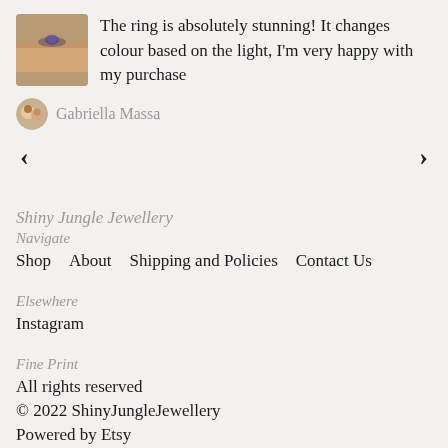The ring is absolutely stunning! It changes colour based on the light, I'm very happy with my purchase
Gabriella Massa
< >
Shiny Jungle Jewellery
Navigate
Shop
About
Shipping and Policies
Contact Us
Elsewhere
Instagram
Fine Print
All rights reserved
© 2022 ShinyJungleJewellery
Powered by Etsy